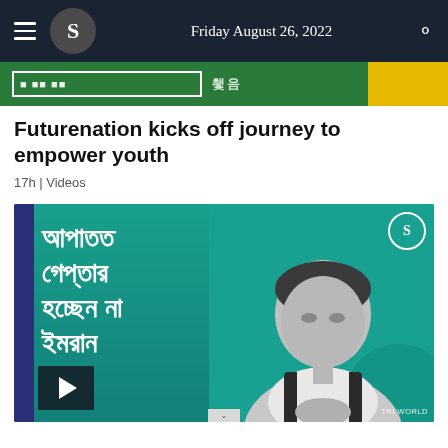Friday August 26, 2022
[Figure (screenshot): Partial banner image strip at top with green and yellow background]
Futurenation kicks off journey to empower youth
17h | Videos
[Figure (screenshot): Video thumbnail showing Bengali text on teal background on left side and a grayscale photo of a man (Imran Khan) on the right side with TRT World logo]